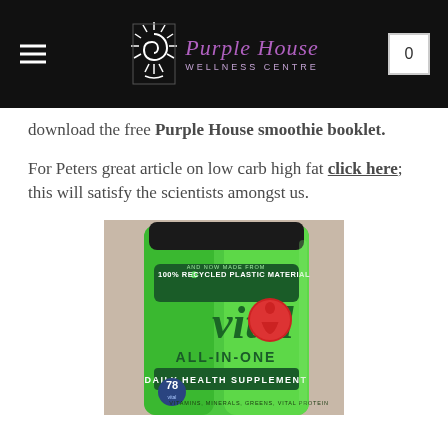Purple House Wellness Centre
download the free Purple House smoothie booklet.
For Peters great article on low carb high fat click here; this will satisfy the scientists amongst us.
[Figure (photo): Green container of Vital All-In-One Daily Health Supplement, 78 vital nutrients, 100% Recycled Plastic Material label, vitamins minerals greens vital protein]